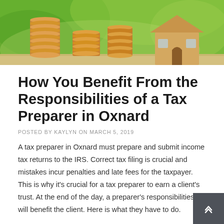[Figure (photo): Photo of stacked coins (gold/bronze colored) with a small wooden house model in the background, set against a green bokeh background.]
How You Benefit From the Responsibilities of a Tax Preparer in Oxnard
POSTED BY KAYLYN ON MARCH 5, 2019
A tax preparer in Oxnard must prepare and submit income tax returns to the IRS. Correct tax filing is crucial and mistakes incur penalties and late fees for the taxpayer. This is why it's crucial for a tax preparer to earn a client's trust. At the end of the day, a preparer's responsibilities will benefit the client. Here is what they have to do.